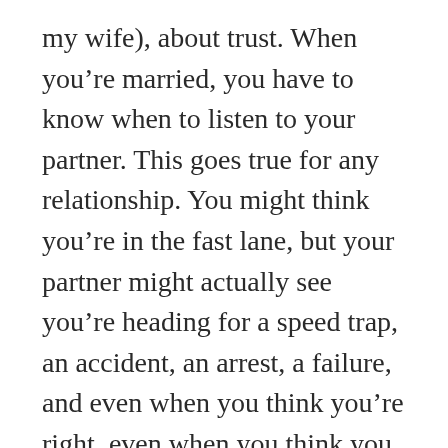my wife), about trust. When you're married, you have to know when to listen to your partner. This goes true for any relationship. You might think you're in the fast lane, but your partner might actually see you're heading for a speed trap, an accident, an arrest, a failure, and even when you think you're right, even when you think you know everything, you should probably think twice and just listen to what the other person has to say and trust, because there might be two cops waiting with a radar gun. We ended up having a blast in Key West, and I'll never forget that bridge, that car, that journey, those cops.